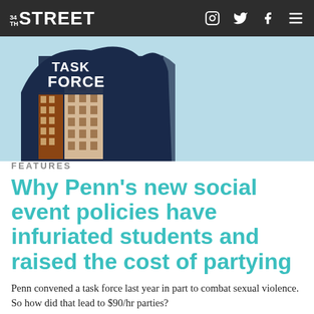34TH STREET
[Figure (illustration): Illustrated figure of a person with buildings inside their silhouette and 'TASK FORCE' text on dark background]
FEATURES
Why Penn's new social event policies have infuriated students and raised the cost of partying
Penn convened a task force last year in part to combat sexual violence. So how did that lead to $90/hr parties?
September 27, 2017 at 1:54 am